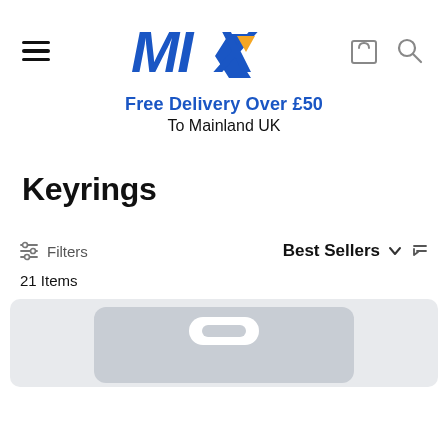MIX — Free Delivery Over £50 To Mainland UK
Keyrings
Filters   Best Sellers   21 Items
[Figure (photo): Partial view of a product card showing a grey keyring packaging hanger card]